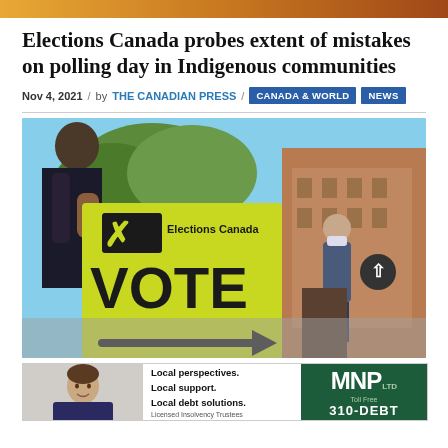Elections Canada probes extent of mistakes on polling day in Indigenous communities
Nov 4, 2021 / by THE CANADIAN PRESS / CANADA & WORLD / NEWS
[Figure (photo): A person walking past a yellow Elections Canada VOTE sign with an arrow, outside a polling station building. Another person in a mask visible in background.]
[Figure (infographic): MNP LTD advertisement: Local perspectives. Local support. Local debt solutions. Licensed Insolvency Trustees. Toll Free 310-DEBT]